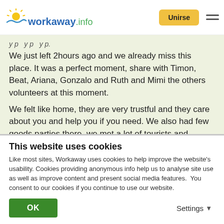workaway.info — Unirse (navigation header)
We just left 2hours ago and we already miss this place. It was a perfect moment, share with Timon, Beat, Ariana, Gonzalo and Ruth and Mimi the others volunteers at this moment.
We felt like home, they are very trustful and they care about you and help you if you need. We also had few goods parties there, we met a lot of tourists and enjoyed all... read more
This website uses cookies
Like most sites, Workaway uses cookies to help improve the website's usability. Cookies providing anonymous info help us to analyse site use as well as improve content and present social media features.  You consent to our cookies if you continue to use our website.
OK
Settings